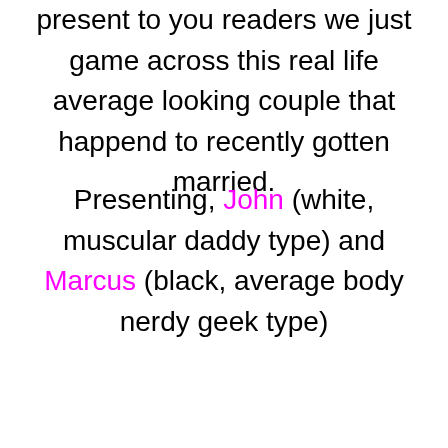present to you readers we just game across this real life average looking couple that happend to recently gotten married.
Presenting, John (white, muscular daddy type) and Marcus (black, average body nerdy geek type)